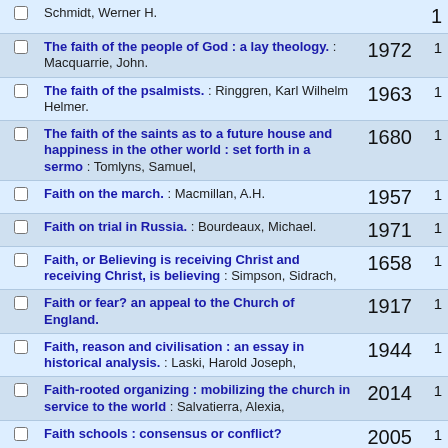|  | Title / Author | Year | Count |
| --- | --- | --- | --- |
| ☐ | Schmidt, Werner H. | 1 |  |
| ☐ | The faith of the people of God : a lay theology. : Macquarrie, John. | 1972 | 1 |
| ☐ | The faith of the psalmists. : Ringgren, Karl Wilhelm Helmer. | 1963 | 1 |
| ☐ | The faith of the saints as to a future house and happiness in the other world : set forth in a sermo : Tomlyns, Samuel, | 1680 | 1 |
| ☐ | Faith on the march. : Macmillan, A.H. | 1957 | 1 |
| ☐ | Faith on trial in Russia. : Bourdeaux, Michael. | 1971 | 1 |
| ☐ | Faith, or Believing is receiving Christ and receiving Christ, is believing : Simpson, Sidrach, | 1658 | 1 |
| ☐ | Faith or fear? an appeal to the Church of England. | 1917 | 1 |
| ☐ | Faith, reason and civilisation : an essay in historical analysis. : Laski, Harold Joseph, | 1944 | 1 |
| ☐ | Faith-rooted organizing : mobilizing the church in service to the world : Salvatierra, Alexia, | 2014 | 1 |
| ☐ | Faith schools : consensus or conflict? | 2005 | 1 |
| ☐ | Faith, science and the future : preparatory readings for a world conference : World Council of | 1978 | 1 |